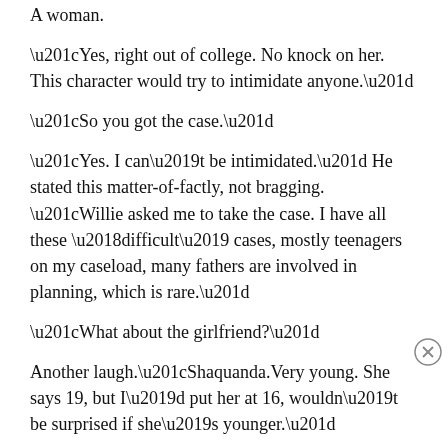A woman.
“Yes, right out of college. No knock on her. This character would try to intimidate anyone.”
“So you got the case.”
“Yes. I can’t be intimidated.” He stated this matter-of-factly, not bragging. “Willie asked me to take the case. I have all these ‘difficult’ cases, mostly teenagers on my caseload, many fathers are involved in planning, which is rare.”
“What about the girlfriend?”
Another laugh.“Shaquanda.Very young. She says 19, but I’d put her at 16, wouldn’t be surprised if she’s younger.”
Advertisements
[Figure (other): Advertisement banner for WordPress/Opinions with text: Opinions. We all have them!]